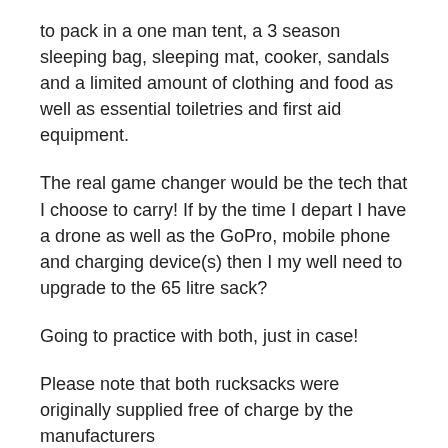to pack in a one man tent, a 3 season sleeping bag, sleeping mat, cooker, sandals and a limited amount of clothing and food as well as essential toiletries and first aid equipment.
The real game changer would be the tech that I choose to carry! If by the time I depart I have a drone as well as the GoPro, mobile phone and charging device(s) then I my well need to upgrade to the 65 litre sack?
Going to practice with both, just in case!
Please note that both rucksacks were originally supplied free of charge by the manufacturers